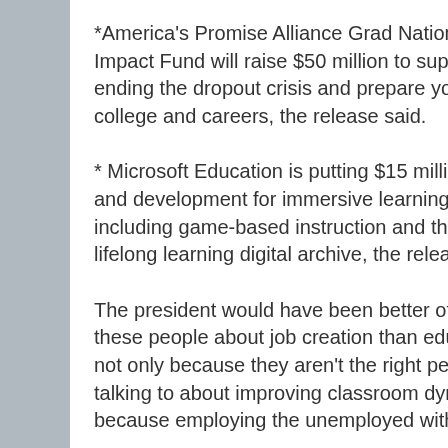*America's Promise Alliance Grad Nation Community Impact Fund will raise $50 million to support the goal of ending the dropout crisis and prepare young people for college and careers, the release said.
* Microsoft Education is putting $15 million into research and development for immersive learning technologies, including game-based instruction and the creation of a lifelong learning digital archive, the release said.
The president would have been better off talking to these people about job creation than education reform, not only because they aren't the right people to be talking to about improving classroom dynamics, but also because employing the unemployed with